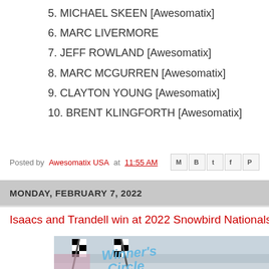5. MICHAEL SKEEN [Awesomatix]
6. MARC LIVERMORE
7. JEFF ROWLAND [Awesomatix]
8. MARC MCGURREN [Awesomatix]
9. CLAYTON YOUNG [Awesomatix]
10. BRENT KLINGFORTH [Awesomatix]
Posted by Awesomatix USA at 11:55 AM
MONDAY, FEBRUARY 7, 2022
Isaacs and Trandell win at 2022 Snowbird Nationals
[Figure (photo): Winners Circle photo showing people at the 2022 Snowbird Nationals event with checkered flags and Winners Circle signage]